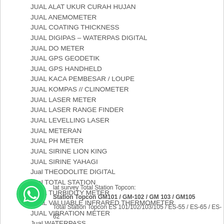JUAL ALAT UKUR CURAH HUJAN
JUAL ANEMOMETER
JUAL COATING THICKNESS
JUAL DIGIPAS – WATERPAS DIGITAL
JUAL DO METER
JUAL GPS GEODETIK
JUAL GPS HANDHELD
JUAL KACA PEMBESAR / LOUPE
JUAL KOMPAS // CLINOMETER
JUAL LASER METER
JUAL LASER RANGE FINDER
JUAL LEVELLING LASER
JUAL METERAN
JUAL PH METER
JUAL SIRINE LION KING
JUAL SIRINE YAHAGI
Jual THEODOLITE DIGITAL
Jual TOTAL STATION
JUAL TURBIDITY METER
JUAL VALUABLE INFRARED THERMOMETER
JUAL VIBRATION METER
Jual WATERPASS
JUAL WEATHER STATION
lat survey Total Station Topcon:
Station Topcon GM101 / GM-102 / GM 103 / GM105
Total Station Topcon ES 101/102/103/105 / ES-55 / ES-65 / ES-62